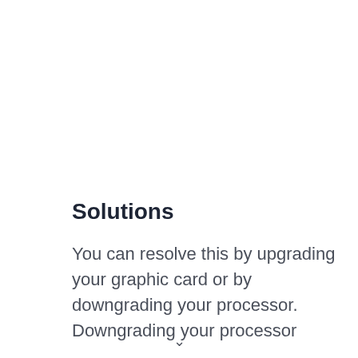Solutions
You can resolve this by upgrading your graphic card or by downgrading your processor. Downgrading your processor